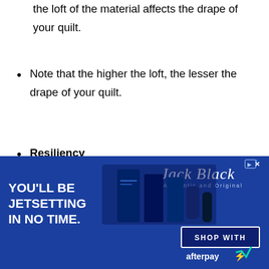the loft of the material affects the drape of your quilt.
Note that the higher the loft, the lesser the drape of your quilt.
Resiliency
This refers to the batting’s ability to return to its original shape. A good example of a resilient batting is polyester. This material can return to its original shape when stretched or folded. Polyester is also crease and wrinkle resistant.
[Figure (advertisement): Jack Black grooming products advertisement with text 'YOU'LL BE JETSETTING IN NO TIME.' and Shop With Afterpay button on blue background]